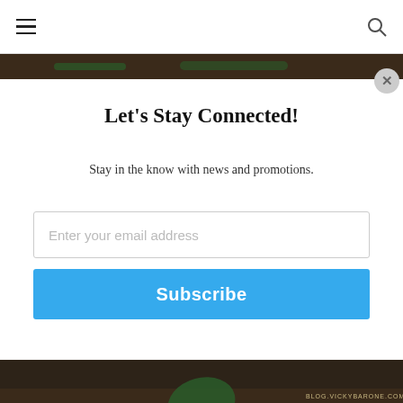[Figure (photo): Dark wood texture strip at the top of the page, partially visible]
Let's Stay Connected!
Stay in the know with news and promotions.
[Figure (screenshot): Email address input field with placeholder text 'Enter your email address']
[Figure (screenshot): Blue Subscribe button]
[Figure (photo): Dark wood texture background with green leaf, watermark BLOG.VICKYBARONE.COM]